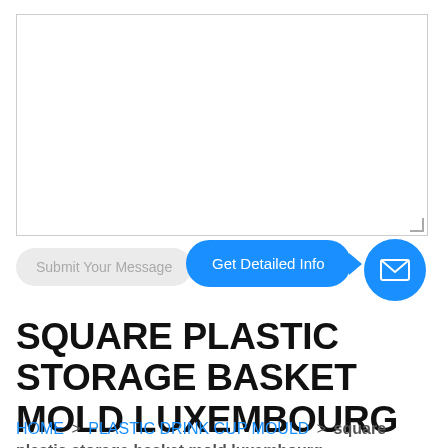[Figure (screenshot): Text area input box with resize handle in bottom-right corner]
Submit Your Message
Get Detailed Info
[Figure (illustration): Blue circle with white envelope/mail icon]
SQUARE PLASTIC STORAGE BASKET MOLD LUXEMBOURG
HOME > PLASTIC DRINK CUP MOULD > square plastic storage basket mold luxembourg